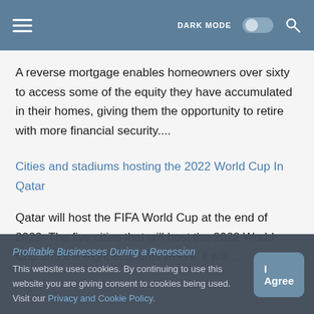DARK MODE [toggle] [search]
A reverse mortgage enables homeowners over sixty to access some of the equity they have accumulated in their homes, giving them the opportunity to retire with more financial security....
Cities and stadiums hosting the 2022 World Cup In Qatar
Qatar will host the FIFA World Cup at the end of 2022. The five cities that will host the 2022 World Cup and the eight stadiums where' it will...
Profitable Businesses During a Recession
This website uses cookies. By continuing to use this website you are giving consent to cookies being used. Visit our Privacy and Cookie Policy.